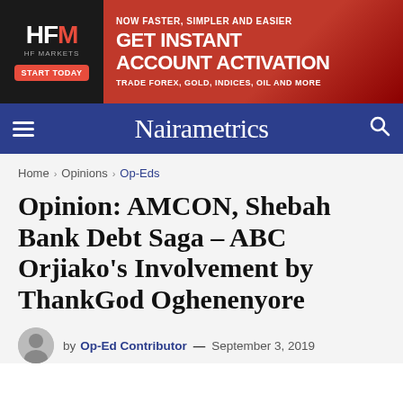[Figure (other): HFM HF Markets advertisement banner: black left panel with HFM logo and START TODAY button; red right panel with text NOW FASTER, SIMPLER AND EASIER / GET INSTANT ACCOUNT ACTIVATION / TRADE FOREX, GOLD, INDICES, OIL AND MORE]
Nairametrics
Home > Opinions > Op-Eds
Opinion: AMCON, Shebah Bank Debt Saga – ABC Orjiako's Involvement by ThankGod Oghenenyore
by Op-Ed Contributor — September 3, 2019